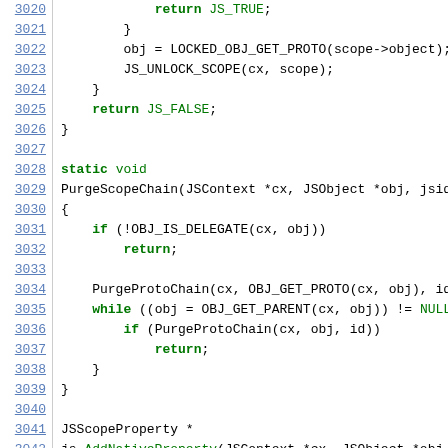[Figure (screenshot): Source code listing showing C/C++ code lines 3020–3042, with line numbers on the left in blue underlined style and code on the right with syntax highlighting (keywords in bold green, identifiers in black, some values in green).]